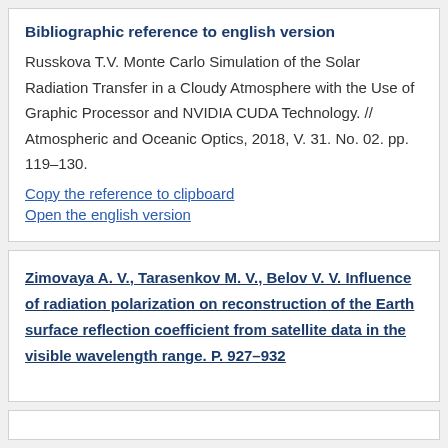Bibliographic reference to english version
Russkova T.V. Monte Carlo Simulation of the Solar Radiation Transfer in a Cloudy Atmosphere with the Use of Graphic Processor and NVIDIA CUDA Technology. // Atmospheric and Oceanic Optics, 2018, V. 31. No. 02. pp. 119–130.
Copy the reference to clipboard
Open the english version
Zimovaya A. V., Tarasenkov M. V., Belov V. V. Influence of radiation polarization on reconstruction of the Earth surface reflection coefficient from satellite data in the visible wavelength range. P. 927–932